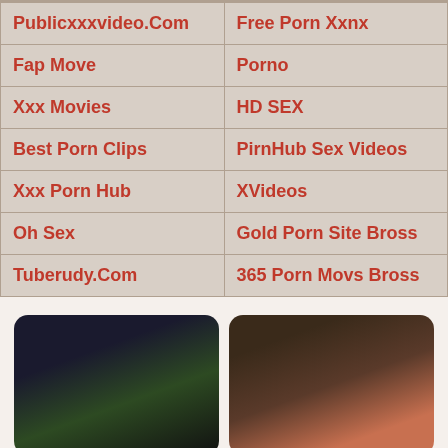| Publicxxxvideo.Com | Free Porn Xxnx |
| Fap Move | Porno |
| Xxx Movies | HD SEX |
| Best Porn Clips | PirnHub Sex Videos |
| Xxx Porn Hub | XVideos |
| Oh Sex | Gold Porn Site Bross |
| Tuberudy.Com | 365 Porn Movs Bross |
[Figure (photo): Two thumbnail images side by side below the table]
[Figure (photo): Right thumbnail image]